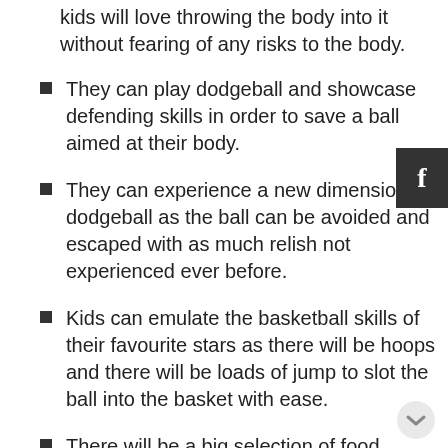kids will love throwing the body into it without fearing of any risks to the body.
They can play dodgeball and showcase defending skills in order to save a ball aimed at their body.
They can experience a new dimension in dodgeball as the ball can be avoided and escaped with as much relish not experienced ever before.
Kids can emulate the basketball skills of their favourite stars as there will be hoops and there will be loads of jump to slot the ball into the basket with ease.
There will be a big selection of food